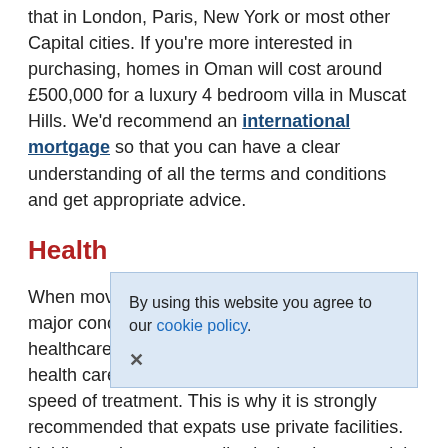that in London, Paris, New York or most other Capital cities. If you're more interested in purchasing, homes in Oman will cost around £500,000 for a luxury 4 bedroom villa in Muscat Hills. We'd recommend an international mortgage so that you can have a clear understanding of all the terms and conditions and get appropriate advice.
Health
When moving to a newly developed country a major concern for most expats is the level of healthcare. Whilst, Oman has a highly regarded health care system some have criticised the speed of treatment. This is why it is strongly recommended that expats use private facilities. Holding an insurance policy is thereby essential if you don't want to be caught out by large hospital bills. It also means that should the worst happen, the ones you love are protected. Whilst most major corporations in Oman offer life insurance policies they tend to be substandard compared to the Western world. Often not including elements of care which we may see as standard, such as dentistry. Having a comprehensive insurance plan before Moving to Oman is crucial.
By using this website you agree to our cookie policy.